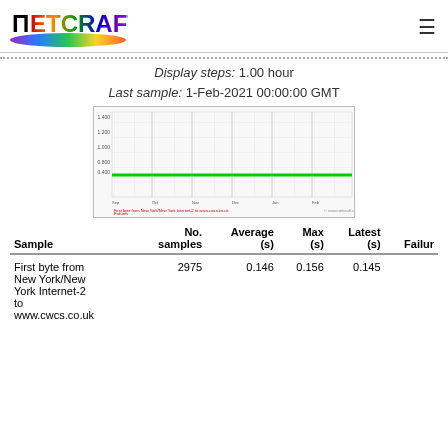NETCRAFT
Display steps: 1.00 hour
Last sample: 1-Feb-2021 00:00:00 GMT
[Figure (continuous-plot): Line chart showing response time in seconds over time from New York/New York Internet-2 to www.cwcs.co.uk. The line stays near 0.4 seconds consistently, shown in green. Y-axis ranges from 0 to 1.400 seconds.]
| Sample | No. samples | Average (s) | Max (s) | Latest (s) | Failur |
| --- | --- | --- | --- | --- | --- |
| First byte from New York/New York Internet-2 to www.cwcs.co.uk | 2975 | 0.146 | 0.156 | 0.145 |  |